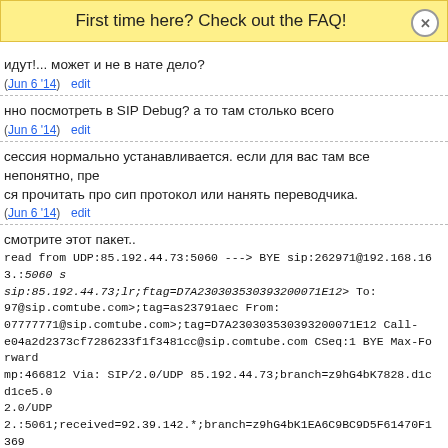First time here? Check out the FAQ!
идут!... может и не в нате дело?
(Jun 6 '14)  edit
нно посмотреть в SIP Debug? а то там столько всего
(Jun 6 '14)  edit
сессия нормально устанавливается. если для вас там все непонятно, пре ся прочитать про сип протокол или нанять переводчика.
(Jun 6 '14)  edit
смотрите этот пакет..
read from UDP:85.192.44.73:5060 ---> BYE sip:262971@192.168.163.:5060 s sip:85.192.44.73;lr;ftag=D7A230303530393200071E12> To: 97@sip.comtube.com>;tag=as23791aec From: 07777771@sip.comtube.com>;tag=D7A230303530393200071E12 Call- e04a2d2373cf7286233f1f3481cc@sip.comtube.com CSeq:1 BYE Max-Forward mp:466812 Via: SIP/2.0/UDP 85.192.44.73;branch=z9hG4bK7828.d1cd1ce5.0 2.0/UDP 2.:5061;received=92.39.142.*;branch=z9hG4bK1EA6C9BC9D5F61470F1369 Length:0 P-hint: rr-enforced
(Jun 6 '14)  edit
е эксперта. этот пакет вполне обычный конец разговора. и без пакетов до н етируется